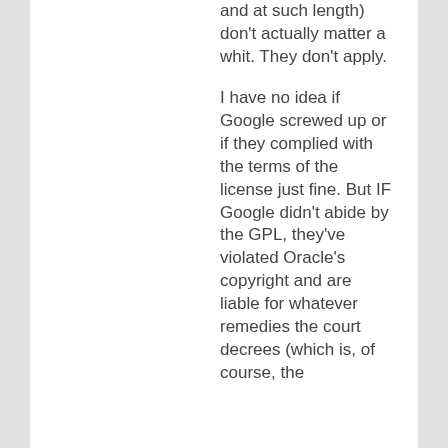and at such length) don't actually matter a whit. They don't apply.
I have no idea if Google screwed up or if they complied with the terms of the license just fine. But IF Google didn't abide by the GPL, they've violated Oracle's copyright and are liable for whatever remedies the court decrees (which is, of course, the